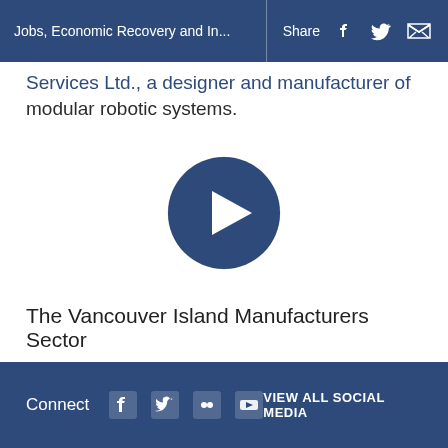Jobs, Economic Recovery and In...
Services Ltd., a designer and manufacturer of modular robotic systems.
[Figure (other): Video play button - circular dark blue button with white right-pointing triangle/arrow in center]
The Vancouver Island Manufacturers Sector
Connect  VIEW ALL SOCIAL MEDIA